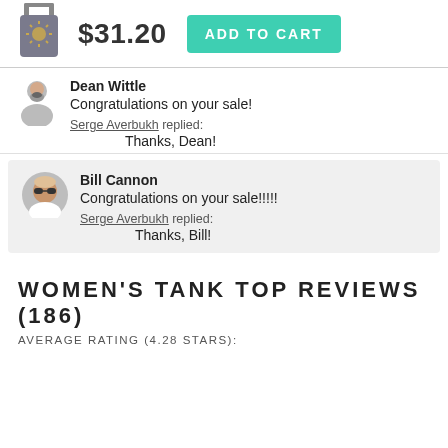[Figure (photo): Gray women's tank top with sun design]
$31.20
ADD TO CART
Dean Wittle
Congratulations on your sale!
Serge Averbukh replied:
Thanks, Dean!
Bill Cannon
Congratulations on your sale!!!!!
Serge Averbukh replied:
Thanks, Bill!
WOMEN'S TANK TOP REVIEWS (186)
AVERAGE RATING (4.28 STARS):